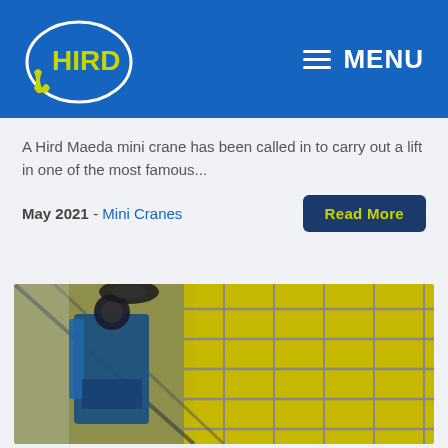HIRD — MENU
A Hird Maeda mini crane has been called in to carry out a lift in one of the most famous...
May 2021 - Mini Cranes
[Figure (photo): A blue mini crane operating inside a yellow-paneled building ceiling, photographed from below looking up, showing a car wheel and structural metal framework.]